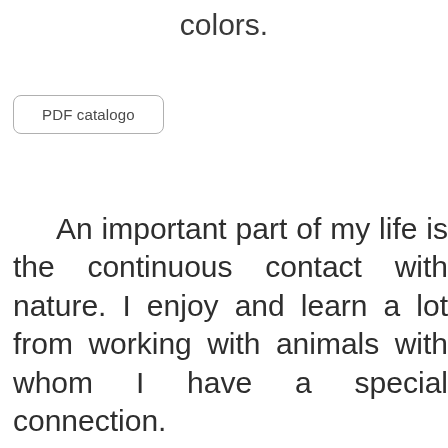colors.
PDF catalogo
An important part of my life is the continuous contact with nature. I enjoy and learn a lot from working with animals with whom I have a special connection.